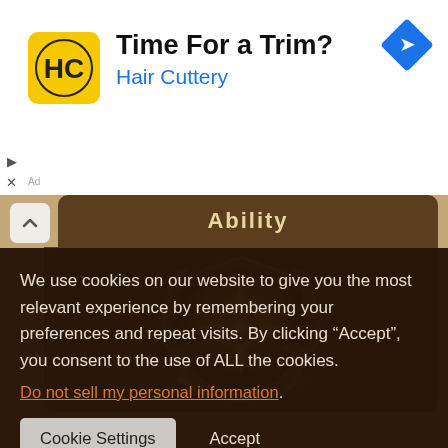[Figure (screenshot): Advertisement banner for Hair Cuttery with yellow HC logo, title 'Time For a Trim?' and blue subtitle 'Hair Cuttery', with a blue navigation diamond icon on the right]
[Figure (screenshot): Mobile game UI showing 'Ability' tab header with brown background and a golden glowing ability icon]
We use cookies on our website to give you the most relevant experience by remembering your preferences and repeat visits. By clicking "Accept", you consent to the use of ALL the cookies.
Do not sell my personal information.
Cookie Settings   Accept